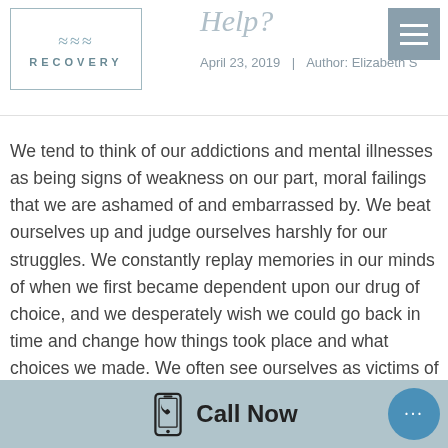[Figure (logo): Recovery logo with wavy line and border]
Help?
April 23, 2019 | Author: Elizabeth S
We tend to think of our addictions and mental illnesses as being signs of weakness on our part, moral failings that we are ashamed of and embarrassed by. We beat ourselves up and judge ourselves harshly for our struggles. We constantly replay memories in our minds of when we first became dependent upon our drug of choice, and we desperately wish we could go back in time and change how things took place and what choices we made. We often see ourselves as victims of our addictions rather than as survivors. We fear the stigma that is still attached to addicts
Call Now